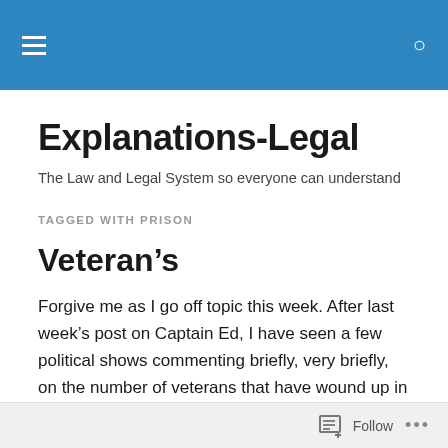Explanations-Legal [navigation header bar]
Explanations-Legal
The Law and Legal System so everyone can understand
TAGGED WITH PRISON
Veteran’s
Forgive me as I go off topic this week. After last week’s post on Captain Ed, I have seen a few political shows commenting briefly, very briefly, on the number of veterans that have wound up in jail.
Follow …